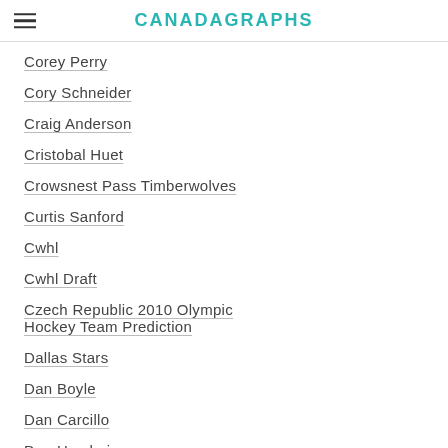CANADAGRAPHS
Corey Perry
Cory Schneider
Craig Anderson
Cristobal Huet
Crowsnest Pass Timberwolves
Curtis Sanford
Cwhl
Cwhl Draft
Czech Republic 2010 Olympic Hockey Team Prediction
Dallas Stars
Dan Boyle
Dan Carcillo
Dan Hamhuis